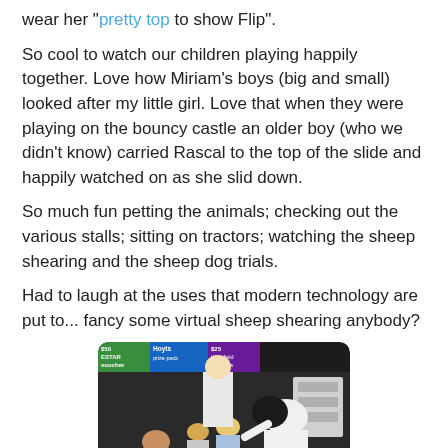wear her "pretty top to show Flip".
So cool to watch our children playing happily together. Love how Miriam's boys (big and small) looked after my little girl. Love that when they were playing on the bouncy castle an older boy (who we didn't know) carried Rascal to the top of the slide and happily watched on as she slid down.
So much fun petting the animals; checking out the various stalls; sitting on tractors; watching the sheep shearing and the sheep dog trials.
Had to laugh at the uses that modern technology are put to... fancy some virtual sheep shearing anybody?
[Figure (photo): Children and adults gathered around what appears to be a sheep shearing demonstration at a fair. Signs visible at top including Hoyts prize pack and $25 Westfield vouchers. Hay bales visible in background.]